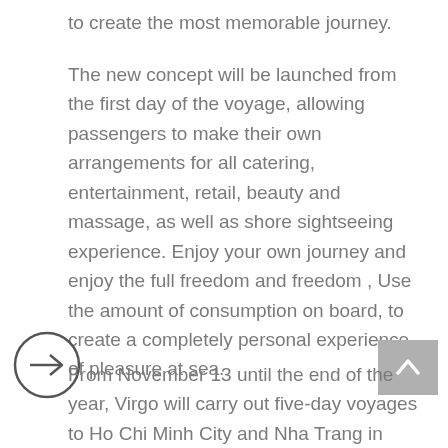to create the most memorable journey.
The new concept will be launched from the first day of the voyage, allowing passengers to make their own arrangements for all catering, entertainment, retail, beauty and massage, as well as shore sightseeing experience. Enjoy your own journey and enjoy the full freedom and freedom , Use the amount of consumption on board, to create a completely personal experience of pleasure at sea.
From November 13 until the end of the year, Virgo will carry out five-day voyages to Ho Chi Minh City and Nha Trang in Vietnam, as well as a weekend voyage in Hong Kong